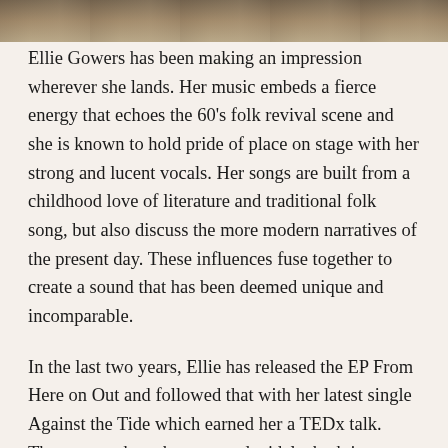[Figure (photo): Partial photo strip at top of page showing a person outdoors, cropped]
Ellie Gowers has been making an impression wherever she lands. Her music embeds a fierce energy that echoes the 60's folk revival scene and she is known to hold pride of place on stage with her strong and lucent vocals. Her songs are built from a childhood love of literature and traditional folk song, but also discuss the more modern narratives of the present day. These influences fuse together to create a sound that has been deemed unique and incomparable.
In the last two years, Ellie has released the EP From Here on Out and followed that with her latest single Against the Tide which earned her a TEDx talk. These songs have been toured widely, both in headline shows and support slots for critically acclaimed artists.
After the unpredictable circumstances that 2020 brought